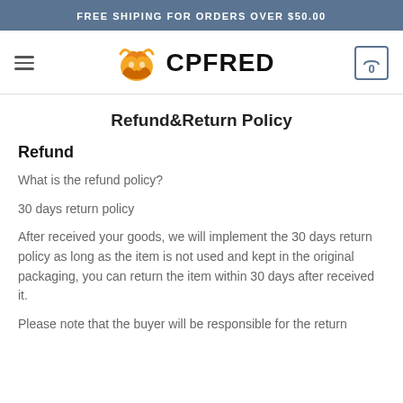FREE SHIPING FOR ORDERS OVER $50.00
[Figure (logo): CPFRED logo with orange fox graphic and bold text]
Refund&Return Policy
Refund
What is the refund policy?
30 days return policy
After received your goods, we will implement the 30 days return policy as long as the item is not used and kept in the original packaging, you can return the item within 30 days after received it.
Please note that the buyer will be responsible for the return